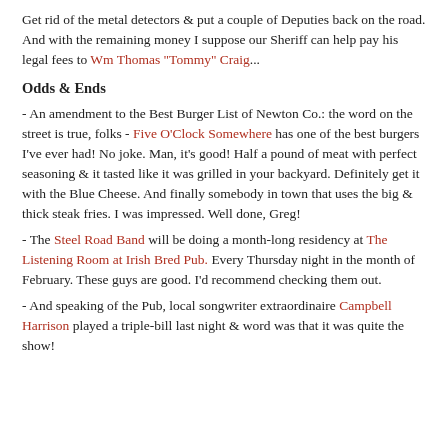Get rid of the metal detectors & put a couple of Deputies back on the road. And with the remaining money I suppose our Sheriff can help pay his legal fees to Wm Thomas "Tommy" Craig...
Odds & Ends
- An amendment to the Best Burger List of Newton Co.: the word on the street is true, folks - Five O'Clock Somewhere has one of the best burgers I've ever had! No joke. Man, it's good! Half a pound of meat with perfect seasoning & it tasted like it was grilled in your backyard. Definitely get it with the Blue Cheese. And finally somebody in town that uses the big & thick steak fries. I was impressed. Well done, Greg!
- The Steel Road Band will be doing a month-long residency at The Listening Room at Irish Bred Pub. Every Thursday night in the month of February. These guys are good. I'd recommend checking them out.
- And speaking of the Pub, local songwriter extraordinaire Campbell Harrison played a triple-bill last night & word was that it was quite the show!